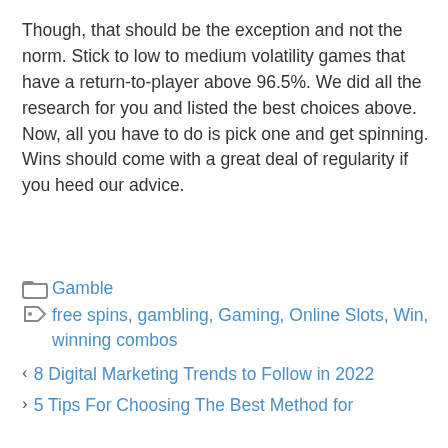Though, that should be the exception and not the norm. Stick to low to medium volatility games that have a return-to-player above 96.5%. We did all the research for you and listed the best choices above. Now, all you have to do is pick one and get spinning. Wins should come with a great deal of regularity if you heed our advice.
Gamble
free spins, gambling, Gaming, Online Slots, Win, winning combos
< 8 Digital Marketing Trends to Follow in 2022
> 5 Tips For Choosing The Best Method for